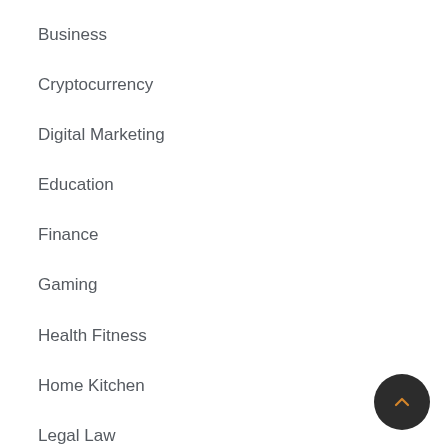Business
Cryptocurrency
Digital Marketing
Education
Finance
Gaming
Health Fitness
Home Kitchen
Legal Law
Lifestyle Fashion
Medicine